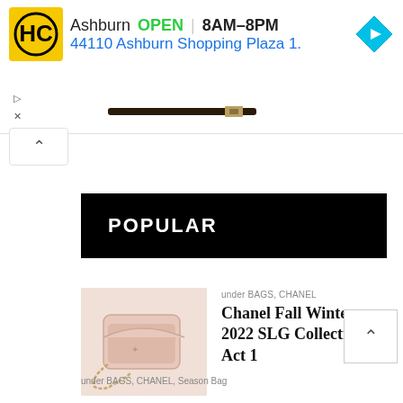[Figure (screenshot): Ad banner: HC logo (black H and C on yellow), Ashburn OPEN 8AM-8PM, 44110 Ashburn Shopping Plaza 1., map/navigation icon (blue diamond with right arrow), play and close controls, partial belt product image]
[Figure (screenshot): Arrow-up carousel navigation button]
POPULAR
[Figure (photo): Pink Chanel bag with chain strap on light background]
under BAGS, CHANEL
Chanel Fall Winter 2022 SLG Collection Act 1
[Figure (screenshot): Scroll to top button with caret/arrow up]
under BAGS, CHANEL, Season Bag